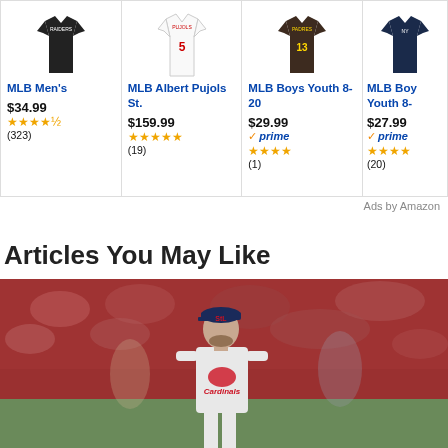[Figure (other): Product card row with 4 MLB merchandise items]
MLB Men's
$34.99 ★★★★½ (323)
MLB Albert Pujols St.
$159.99 ★★★★★ (19)
MLB Boys Youth 8-20
$29.99 prime ★★★★ (1)
MLB Boys Youth 8-
$27.99 prime ★★★★ (20)
Ads by Amazon
Articles You May Like
[Figure (photo): Baseball player in St. Louis Cardinals uniform standing on field with crowd in background]